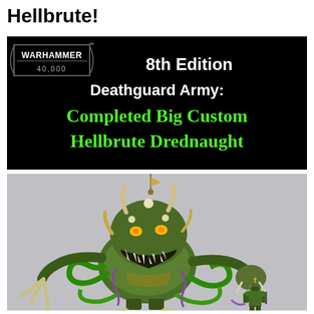Hellbrute!
[Figure (screenshot): YouTube thumbnail for Warhammer 40,000 8th Edition Deathguard Army video showing completed big custom Hellbrute Drednaught. Black background with Warhammer 40,000 logo on left, white text '8th Edition Deathguard Army:' and green gothic text 'Completed Big Custom Hellbrute Drednaught'.]
[Figure (photo): Photograph of a large painted Warhammer 40,000 Death Guard Hellbrute Dreadnought miniature on a grey background. The model is green and decayed-looking with claws, tentacles, horns, glowing yellow eyes, and a large fanged maw. A smaller Space Marine miniature stands next to it for scale.]